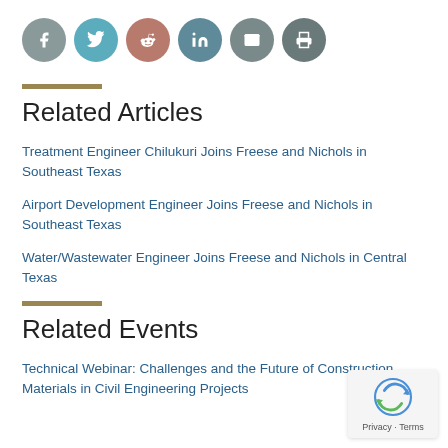[Figure (other): Social media sharing icons: Facebook (grey), Twitter (teal), Reddit (dusty rose), LinkedIn (steel blue), Email (grey), Print (dark grey)]
Related Articles
Treatment Engineer Chilukuri Joins Freese and Nichols in Southeast Texas
Airport Development Engineer Joins Freese and Nichols in Southeast Texas
Water/Wastewater Engineer Joins Freese and Nichols in Central Texas
Related Events
Technical Webinar: Challenges and the Future of Construction Materials in Civil Engineering Projects
[Figure (logo): reCAPTCHA badge with Privacy and Terms links]